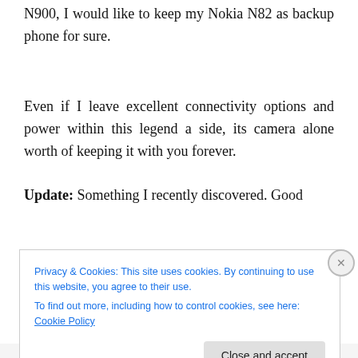N900, I would like to keep my Nokia N82 as backup phone for sure.
Even if I leave excellent connectivity options and power within this legend a side, its camera alone worth of keeping it with you forever.
Update: Something I recently discovered. Good
Privacy & Cookies: This site uses cookies. By continuing to use this website, you agree to their use.
To find out more, including how to control cookies, see here: Cookie Policy